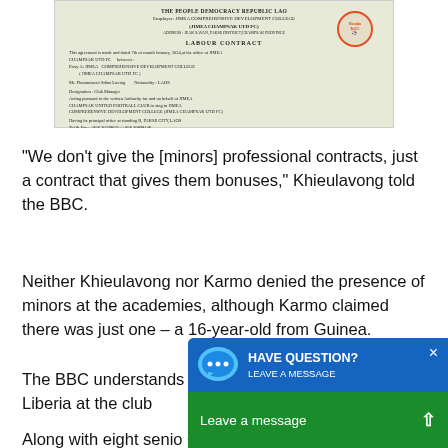[Figure (photo): Photograph of a printed Labour Contract document from The People Democracy Republic Lao, Employer: JIMEA Comprehensive Development College (JIMEA Champsak UTD FC), Address: JEAK Savan, Pakse District, Champsak Province. Document shows signatures and an official red stamp.]
“We don’t give the [minors] professional contracts, just a contract that gives them bonuses,” Khieulavong told the BBC.
Neither Khieulavong nor Karmo denied the presence of minors at the academies, although Karmo claimed there was just one – a 16-year-old from Guinea.
The BBC understands there are five more minors from Liberia at the club
Along with eight senio Ghanaian and Sierra L conditions described